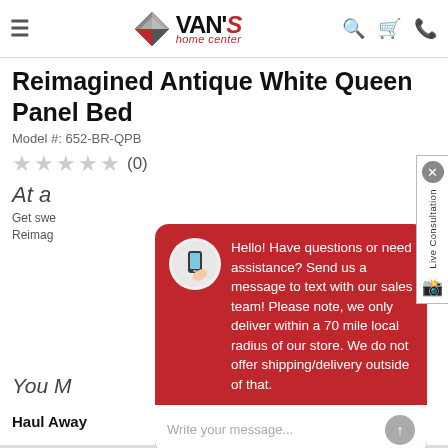Van's Home Center — navigation header with logo, search, cart, phone icons
Reimagined Antique White Queen Panel Bed
Model #: 652-BR-QPB
★★★★★ (0)
At a
Get swept... Reimag...
[Figure (screenshot): Chat popup overlay with red background. Shows phone icon avatar and message: Hello! Have questions or need assistance? Send us a message to text with our sales team! Please note, we only deliver within a 70 mile local radius of our store. We do not offer shipping/delivery outside of that. Below is a text input field with placeholder 'Write your message...' and a send button.]
You M
Haul Away